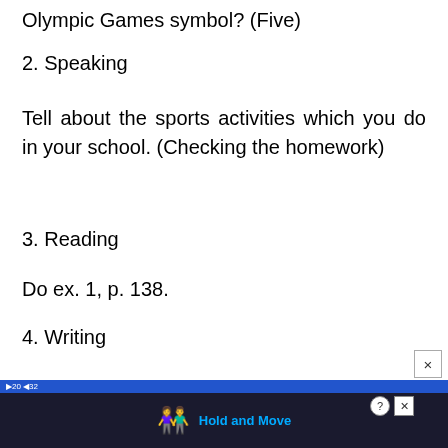Olympic Games symbol? (Five)
2. Speaking
Tell about the sports activities which you do in your school. (Checking the homework)
3. Reading
Do ex. 1, p. 138.
4. Writing
[Figure (screenshot): Advertisement banner at the bottom of the page showing 'Hold and Move' app with a close button (×) in the upper right corner of the ad area.]